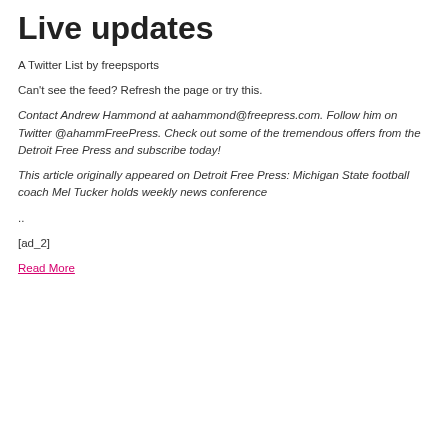Live updates
A Twitter List by freepsports
Can't see the feed? Refresh the page or try this.
Contact Andrew Hammond at aahammond@freepress.com. Follow him on Twitter @ahammFreePress. Check out some of the tremendous offers from the Detroit Free Press and subscribe today!
This article originally appeared on Detroit Free Press: Michigan State football coach Mel Tucker holds weekly news conference
..
[ad_2]
Read More